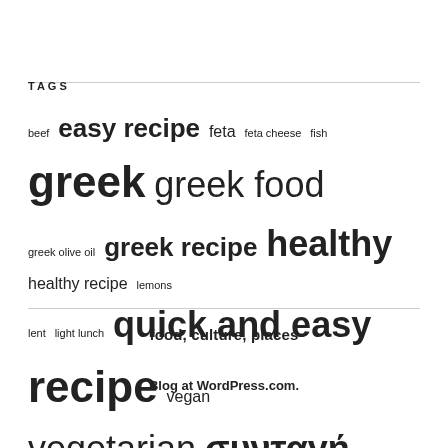TAGS
beef easy recipe feta feta cheese fish greek greek food greek olive oil greek recipe healthy healthy recipe lemons lent light lunch quick and easy recipe vegan vegetarian συνταγή
food, culture, places
Blog at WordPress.com.